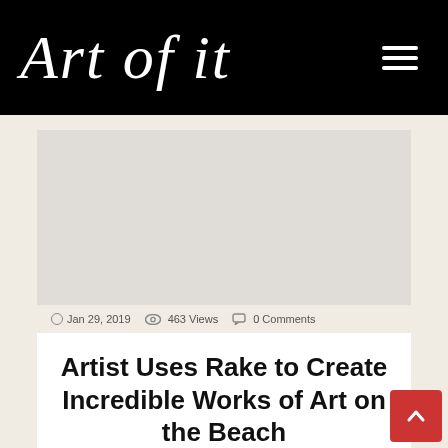Art of it
[Figure (photo): Gray placeholder image for article thumbnail]
Jan 29, 2019  463 Views  0 Comments
Artist Uses Rake to Create Incredible Works of Art on the Beach
Written by admin